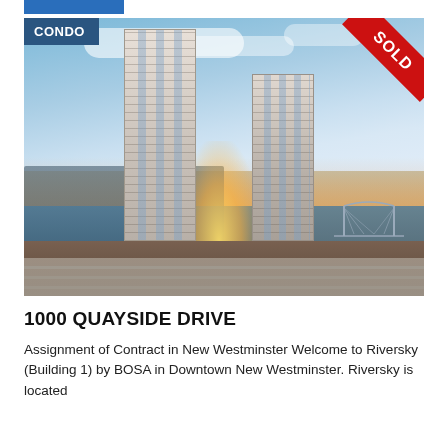[Figure (photo): Aerial/street-level photo of two modern high-rise condo towers (Riversky by BOSA) in Downtown New Westminster, with a waterfront and bridge visible in the background, sunset lighting. A dark blue 'CONDO' label badge is in the top-left corner and a red 'SOLD' ribbon banner is in the top-right corner.]
1000 QUAYSIDE DRIVE
Assignment of Contract in New Westminster Welcome to Riversky (Building 1) by BOSA in Downtown New Westminster. Riversky is located...